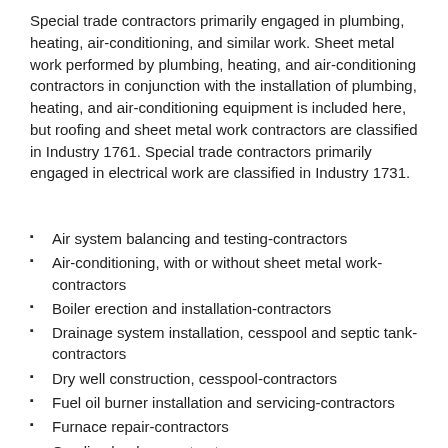Special trade contractors primarily engaged in plumbing, heating, air-conditioning, and similar work. Sheet metal work performed by plumbing, heating, and air-conditioning contractors in conjunction with the installation of plumbing, heating, and air-conditioning equipment is included here, but roofing and sheet metal work contractors are classified in Industry 1761. Special trade contractors primarily engaged in electrical work are classified in Industry 1731.
Air system balancing and testing-contractors
Air-conditioning, with or without sheet metal work-contractors
Boiler erection and installation-contractors
Drainage system installation, cesspool and septic tank-contractors
Dry well construction, cesspool-contractors
Fuel oil burner installation and servicing-contractors
Furnace repair-contractors
Gas line hookup-contractors
Heating equipment installation-contractors
Heating, with or without sheet metal work-contractors
Lawn sprinkler system installation-contractors
Mechanical contractors
Piping, plumbing-contractors